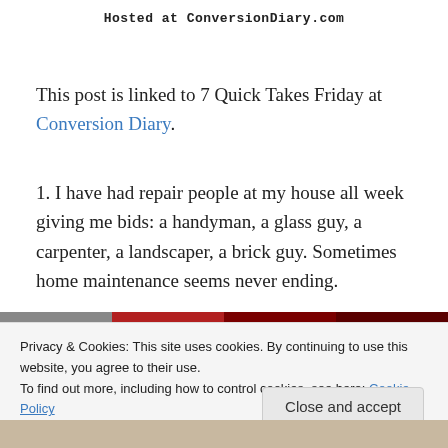Hosted at ConversionDiary.com
This post is linked to 7 Quick Takes Friday at Conversion Diary.
1. I have had repair people at my house all week giving me bids: a handyman, a glass guy, a carpenter, a landscaper, a brick guy. Sometimes home maintenance seems never ending.
Privacy & Cookies: This site uses cookies. By continuing to use this website, you agree to their use.
To find out more, including how to control cookies, see here: Cookie Policy
[Figure (photo): Bottom image bar showing partial photo]